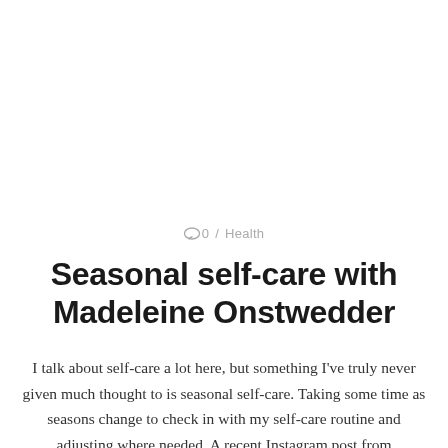💬 0  /  Health
Seasonal self-care with Madeleine Onstwedder
I talk about self-care a lot here, but something I've truly never given much thought to is seasonal self-care. Taking some time as seasons change to check in with my self-care routine and adjusting where needed. A recent Instagram post from Madeleine Onstwedder